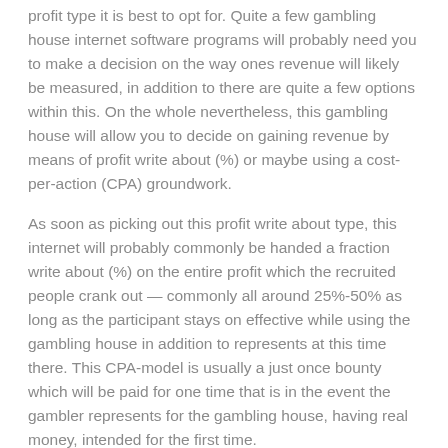profit type it is best to opt for. Quite a few gambling house internet software programs will probably need you to make a decision on the way ones revenue will likely be measured, in addition to there are quite a few options within this. On the whole nevertheless, this gambling house will allow you to decide on gaining revenue by means of profit write about (%) or maybe using a cost-per-action (CPA) groundwork.
As soon as picking out this profit write about type, this internet will probably commonly be handed a fraction write about (%) on the entire profit which the recruited people crank out — commonly all around 25%-50% as long as the participant stays on effective while using the gambling house in addition to represents at this time there. This CPA-model is usually a just once bounty which will be paid for one time that is in the event the gambler represents for the gambling house, having real money, intended for the first time.